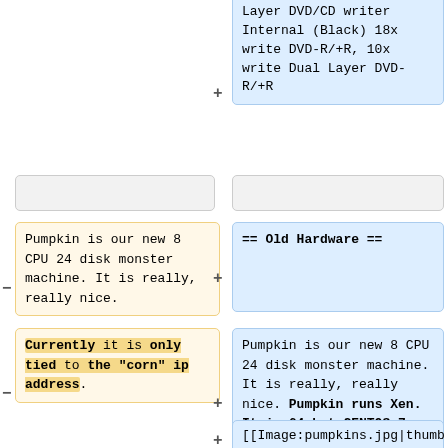Layer DVD/CD writer Internal (Black) 18x write DVD-R/+R, 10x write Dual Layer DVD-R/+R
== Old Hardware ==
Pumpkin is our new 8 CPU 24 disk monster machine. It is really, really nice.
Pumpkin is our new 8 CPU 24 disk monster machine. It is really, really nice. Pumpkin runs Xen. It is 64-but CENTOS-7
Currently it is only tied to the "corn" ip address.
[[Image:pumpkins.jpg|thumb|200px|Pumpkins]]